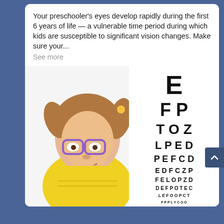Your preschooler's eyes develop rapidly during the first 6 years of life — a vulnerable time period during which kids are susceptible to significant vision changes. Make sure your...
See more
[Figure (photo): A smiling young girl wearing purple glasses and a yellow dress, posing with hands on cheek, next to an eye chart showing rows of letters E, FP, TOZ, LPED, PEFCD, EDFCZP, FELOPZD, DEFPOTEC, LEFOOPCТ, FPPLYCOO]